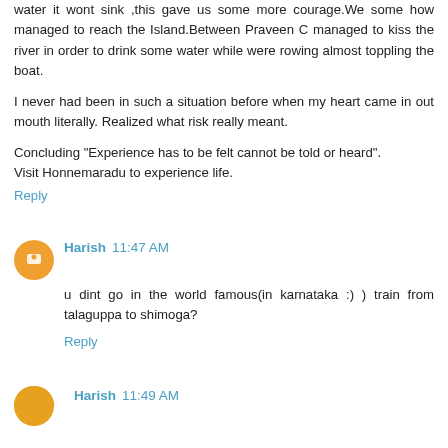water it wont sink ,this gave us some more courage.We some how managed to reach the Island.Between Praveen C managed to kiss the river in order to drink some water while were rowing almost toppling the boat.
I never had been in such a situation before when my heart came in out mouth literally. Realized what risk really meant.
Concluding "Experience has to be felt cannot be told or heard".
Visit Honnemaradu to experience life.
Reply
Harish 11:47 AM
u dint go in the world famous(in karnataka :) ) train from talaguppa to shimoga?
Reply
Harish 11:49 AM